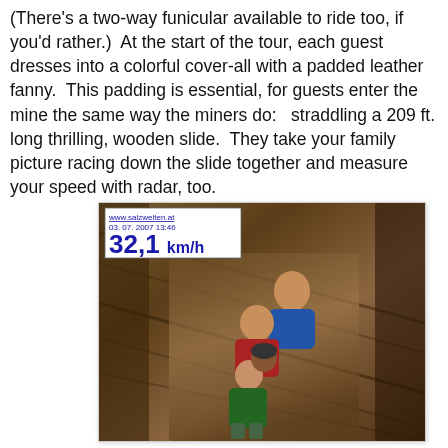(There's a two-way funicular available to ride too, if you'd rather.)  At the start of the tour, each guest dresses into a colorful cover-all with a padded leather fanny.  This padding is essential, for guests enter the mine the same way the miners do:   straddling a 209 ft. long thrilling, wooden slide.  They take your family picture racing down the slide together and measure your speed with radar, too.
[Figure (photo): Family photo on a wooden mine slide. Speed overlay shows www.salzwelten.at, date 03.07.2007 13:46, and speed 32,1 km/h. A family of four in colorful cover-alls racing down a long wooden slide inside a salt mine.]